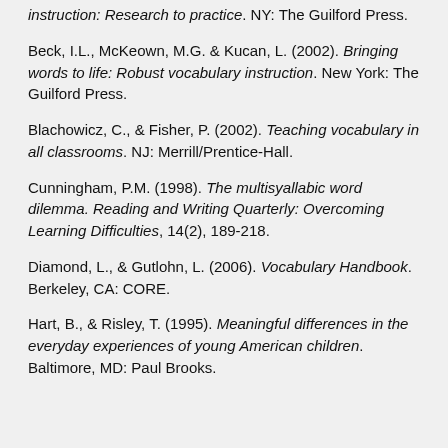instruction: Research to practice. NY: The Guilford Press.
Beck, I.L., McKeown, M.G. & Kucan, L. (2002). Bringing words to life: Robust vocabulary instruction. New York: The Guilford Press.
Blachowicz, C., & Fisher, P. (2002). Teaching vocabulary in all classrooms. NJ: Merrill/Prentice-Hall.
Cunningham, P.M. (1998). The multisyallabic word dilemma. Reading and Writing Quarterly: Overcoming Learning Difficulties, 14(2), 189-218.
Diamond, L., & Gutlohn, L. (2006). Vocabulary Handbook. Berkeley, CA: CORE.
Hart, B., & Risley, T. (1995). Meaningful differences in the everyday experiences of young American children. Baltimore, MD: Paul Brooks.